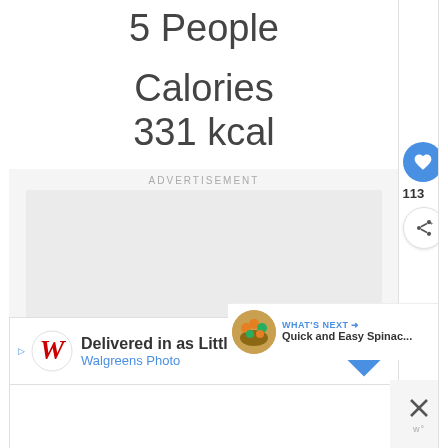5 People
Calories
331 kcal
[Figure (screenshot): Advertisement placeholder box (gray rectangle)]
ADVERTISEMENT
[Figure (infographic): Heart/like button (blue circle with heart icon), like count 113, share button]
113
WHAT'S NEXT → Quick and Easy Spinac...
[Figure (photo): Thumbnail image of spinach dish]
Delivered in as Little as 1 Hr Walgreens Photo